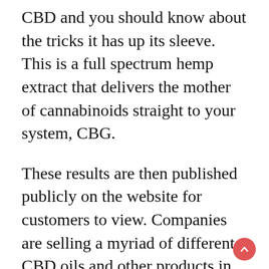CBD and you should know about the tricks it has up its sleeve. This is a full spectrum hemp extract that delivers the mother of cannabinoids straight to your system, CBG.
These results are then published publicly on the website for customers to view. Companies are selling a myriad of different CBD oils and other products in an attempt to cash in on the new health trend. This means there are a lot of excellent products coming to market, but it also means there’s a lot of trash as well. Now that we’ve covered a few CBD oil options that are going to provide the best value for your money, let’s discuss how CBD is suggested to support chronic pain in